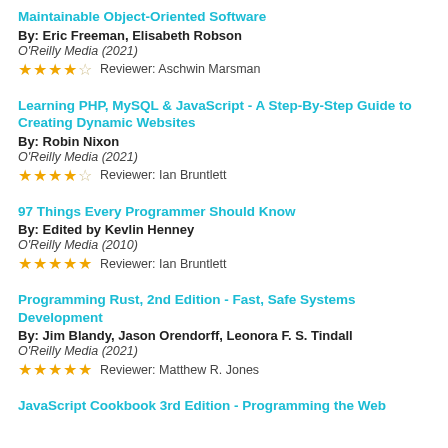Maintainable Object-Oriented Software
By: Eric Freeman, Elisabeth Robson
O'Reilly Media (2021)
★★★★☆ Reviewer: Aschwin Marsman
Learning PHP, MySQL & JavaScript - A Step-By-Step Guide to Creating Dynamic Websites
By: Robin Nixon
O'Reilly Media (2021)
★★★★☆ Reviewer: Ian Bruntlett
97 Things Every Programmer Should Know
By: Edited by Kevlin Henney
O'Reilly Media (2010)
★★★★★ Reviewer: Ian Bruntlett
Programming Rust, 2nd Edition - Fast, Safe Systems Development
By: Jim Blandy, Jason Orendorff, Leonora F. S. Tindall
O'Reilly Media (2021)
★★★★★ Reviewer: Matthew R. Jones
JavaScript Cookbook 3rd Edition - Programming the Web